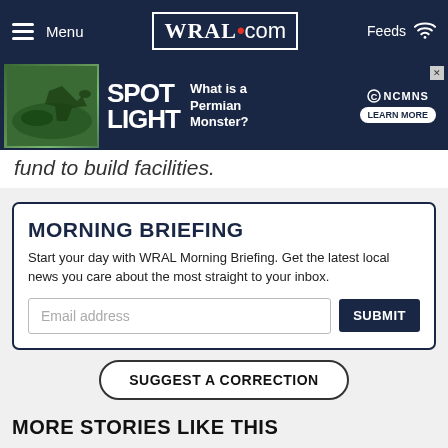WRAL.com — Menu | Feeds
[Figure (other): WRAL.com advertisement banner for NC Museum of Natural Sciences SPOTLIGHT exhibit: 'What is a Permian Monster?' with Learn More button]
fund to build facilities.
MORNING BRIEFING
Start your day with WRAL Morning Briefing. Get the latest local news you care about the most straight to your inbox.
SUGGEST A CORRECTION
MORE STORIES LIKE THIS